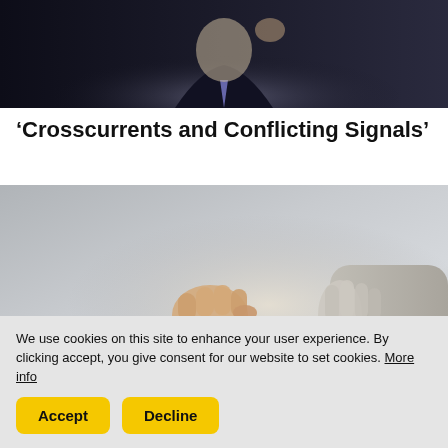[Figure (photo): Partial view of a man in a dark suit, blurred background, upper body and face partially visible]
‘Crosscurrents and Conflicting Signals’
[Figure (photo): Close-up of a hand holding car keys, passing them to another hand, blurred outdoor background]
We use cookies on this site to enhance your user experience. By clicking accept, you give consent for our website to set cookies. More info
Accept
Decline